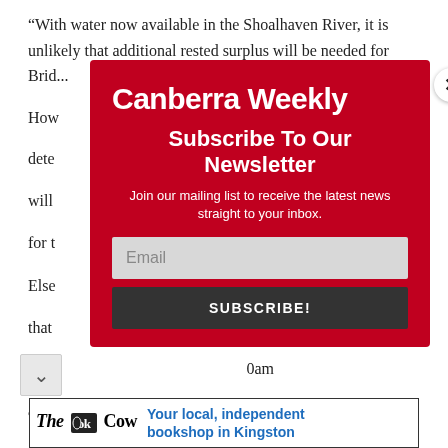“With water now available in the Shoalhaven River, it is unlikely that additional rested surplus will be needed for Brid... How... dete... er will... d for t...
Else... uary that... 60m... 0am and...
As a... h is Gou... vel
[Figure (screenshot): Canberra Weekly newsletter subscription modal popup with red background, logo, subscribe heading, email input field, and subscribe button]
[Figure (logo): The Book Cow advertisement banner: 'Your local, independent bookshop in Kingston']